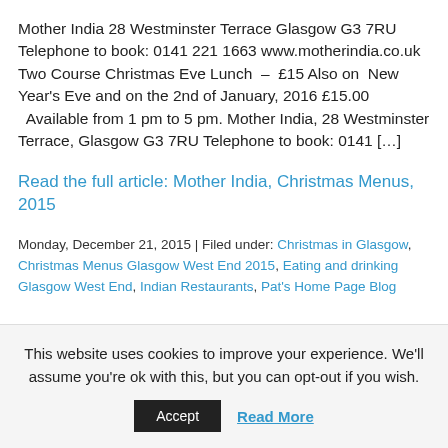Mother India 28 Westminster Terrace Glasgow G3 7RU Telephone to book: 0141 221 1663 www.motherindia.co.uk Two Course Christmas Eve Lunch  –  £15 Also on  New Year's Eve and on the 2nd of January, 2016 £15.00   Available from 1 pm to 5 pm. Mother India, 28 Westminster Terrace, Glasgow G3 7RU Telephone to book: 0141 […]
Read the full article: Mother India, Christmas Menus, 2015
Monday, December 21, 2015 | Filed under: Christmas in Glasgow, Christmas Menus Glasgow West End 2015, Eating and drinking Glasgow West End, Indian Restaurants, Pat's Home Page Blog
This website uses cookies to improve your experience. We'll assume you're ok with this, but you can opt-out if you wish.